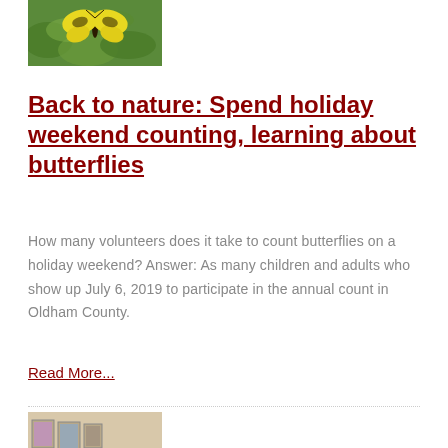[Figure (photo): A yellow swallowtail butterfly on green leaves, photographed from above]
Back to nature: Spend holiday weekend counting, learning about butterflies
How many volunteers does it take to count butterflies on a holiday weekend? Answer: As many children and adults who show up July 6, 2019 to participate in the annual count in Oldham County.
Read More...
[Figure (photo): Two people standing in front of framed artwork on a wall, one holding a red object]